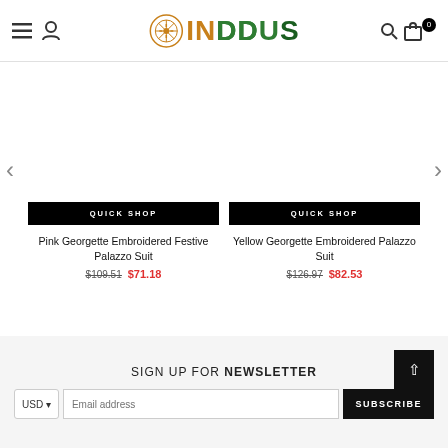INDDUS - navigation header with hamburger, user icon, logo, search and cart icons
[Figure (screenshot): Product card 1: Pink Georgette Embroidered Festive Palazzo Suit with QUICK SHOP button, original price $109.51, sale price $71.18]
[Figure (screenshot): Product card 2: Yellow Georgette Embroidered Palazzo Suit with QUICK SHOP button, original price $126.97, sale price $82.53]
Pink Georgette Embroidered Festive Palazzo Suit
$109.51 $71.18
Yellow Georgette Embroidered Palazzo Suit
$126.97 $82.53
SIGN UP FOR NEWSLETTER
Email address
SUBSCRIBE